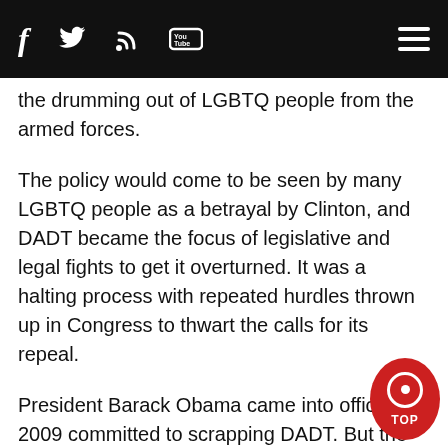f [twitter] [rss] [youtube] [menu]
the drumming out of LGBTQ people from the armed forces.
The policy would come to be seen by many LGBTQ people as a betrayal by Clinton, and DADT became the focus of legislative and legal fights to get it overturned. It was a halting process with repeated hurdles thrown up in Congress to thwart the calls for its repeal.
President Barack Obama came into office in 2009 committed to scrapping DADT. But the deliberative former U.S. senator from Illinois sought to have cooperation from Pentagon officials and Congress in order to do so. It would take some procedural maneuvering to break a Republican filibuster in the Senate to achieve his goal.